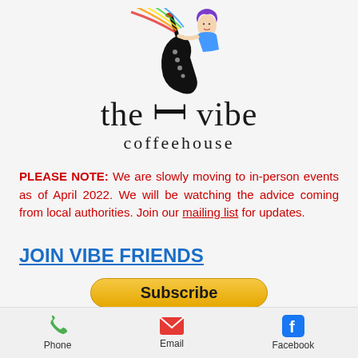[Figure (logo): The Vibe Coffeehouse logo: colorful illustrated figure of a woman playing a saxophone, with rainbow streaks, above stylized text 'the vibe coffeehouse']
PLEASE NOTE: We are slowly moving to in-person events as of April 2022. We will be watching the advice coming from local authorities. Join our mailing list for updates.
JOIN VIBE FRIENDS
[Figure (other): Yellow rounded Subscribe button]
Phone   Email   Facebook